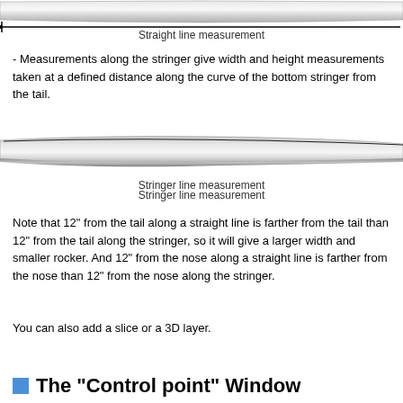[Figure (illustration): Top view of a surfboard showing straight line measurement with an arrow spanning the full length of the board against a white background.]
Straight line measurement
- Measurements along the stringer give width and height measurements taken at a defined distance along the curve of the bottom stringer from the tail.
[Figure (illustration): Side view of a surfboard showing stringer line measurement, showing the curved profile of the board's bottom stringer.]
Stringer line measurement
Note that 12" from the tail along a straight line is farther from the tail than 12" from the tail along the stringer, so it will give a larger width and smaller rocker. And 12" from the nose along a straight line is farther from the nose than 12" from the nose along the stringer.
You can also add a slice or a 3D layer.
The "Control point" Window